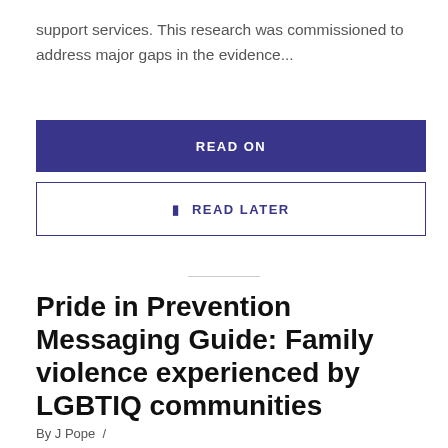support services. This research was commissioned to address major gaps in the evidence...
READ ON
✓ READ LATER
Pride in Prevention Messaging Guide: Family violence experienced by LGBTIQ communities
By J Pope  /